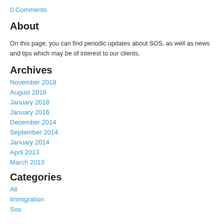0 Comments
About
On this page, you can find periodic updates about SOS, as well as news and tips which may be of interest to our clients.
Archives
November 2018
August 2018
January 2018
January 2016
December 2014
September 2014
January 2014
April 2013
March 2013
Categories
All
Immigration
Sos